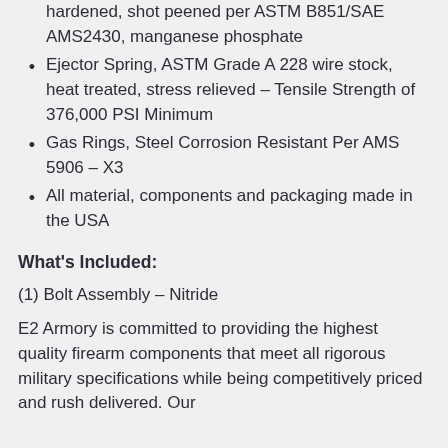hardened, shot peened per ASTM B851/SAE AMS2430, manganese phosphate
Ejector Spring, ASTM Grade A 228 wire stock, heat treated, stress relieved – Tensile Strength of 376,000 PSI Minimum
Gas Rings, Steel Corrosion Resistant Per AMS 5906 – X3
All material, components and packaging made in the USA
What's Included:
(1) Bolt Assembly – Nitride
E2 Armory is committed to providing the highest quality firearm components that meet all rigorous military specifications while being competitively priced and rush delivered. Our